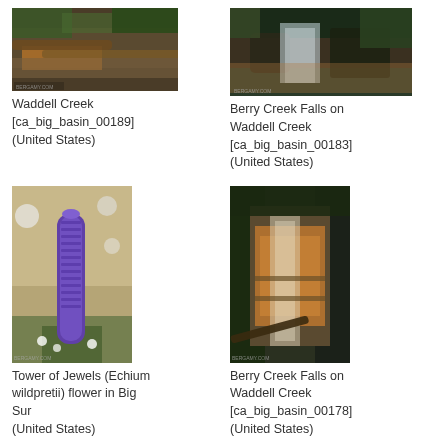[Figure (photo): Waddell Creek forest scene with fallen logs and orange-tinted water]
Waddell Creek [ca_big_basin_00189] (United States)
[Figure (photo): Berry Creek Falls on Waddell Creek with cascading water and mossy rocks]
Berry Creek Falls on Waddell Creek [ca_big_basin_00183] (United States)
[Figure (photo): Tower of Jewels (Echium wildpretii) purple flower spike in Big Sur]
Tower of Jewels (Echium wildpretii) flower in Big Sur (United States)
[Figure (photo): Berry Creek Falls on Waddell Creek showing orange-stained waterfall in forest]
Berry Creek Falls on Waddell Creek [ca_big_basin_00178] (United States)